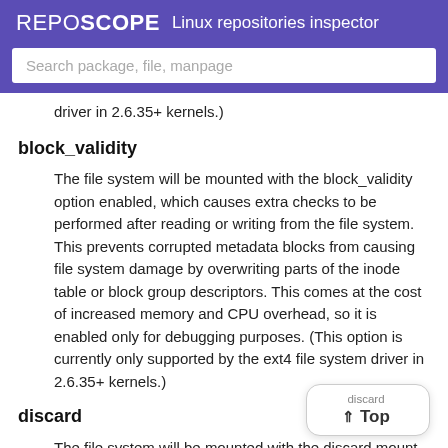REPOSCOPE  Linux repositories inspector
Search package, file, manpage
driver in 2.6.35+ kernels.)
block_validity
The file system will be mounted with the block_validity option enabled, which causes extra checks to be performed after reading or writing from the file system. This prevents corrupted metadata blocks from causing file system damage by overwriting parts of the inode table or block group descriptors. This comes at the cost of increased memory and CPU overhead, so it is enabled only for debugging purposes. (This option is currently only supported by the ext4 file system driver in 2.6.35+ kernels.)
discard
The file system will be mounted with the discard mount option. This will cause the file system driver to attempt to use the trim/discard feature of some storage devices (such as SSD's and thin-provisioned drives available in some enterprise